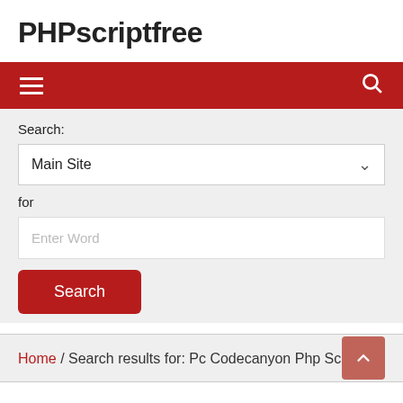PHPscriptfree
[Figure (screenshot): Navigation bar with hamburger menu icon on left and search icon on right, red background]
Search:
Main Site
for
Enter Word
Search
Home / Search results for: Pc Codecanyon Php Script
Search Results for: Pc Codecanyon